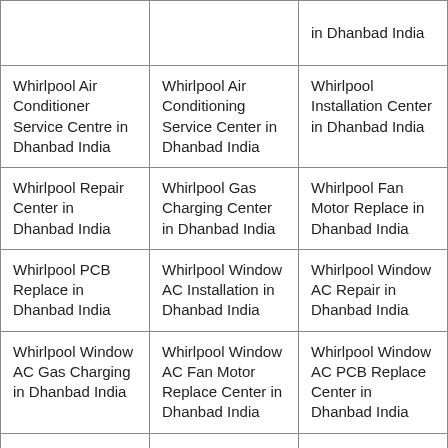|  |  | in Dhanbad India |
| Whirlpool Air Conditioner Service Centre in Dhanbad India | Whirlpool Air Conditioning Service Center in Dhanbad India | Whirlpool Installation Center in Dhanbad India |
| Whirlpool Repair Center in Dhanbad India | Whirlpool Gas Charging Center in Dhanbad India | Whirlpool Fan Motor Replace in Dhanbad India |
| Whirlpool PCB Replace in Dhanbad India | Whirlpool Window AC Installation in Dhanbad India | Whirlpool Window AC Repair in Dhanbad India |
| Whirlpool Window AC Gas Charging in Dhanbad India | Whirlpool Window AC Fan Motor Replace Center in Dhanbad India | Whirlpool Window AC PCB Replace Center in Dhanbad India |
| Whirlpool Split AC Installation | Whirlpool Split AC Repair Center in | Whirlpool Split AC Gas Charging |